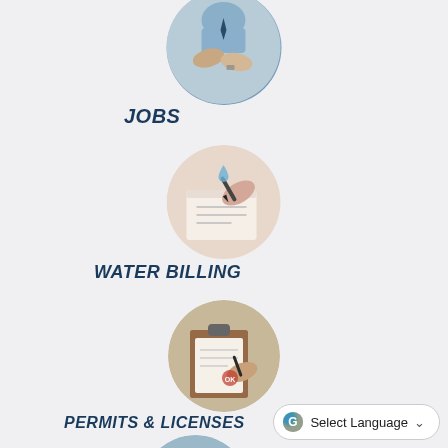[Figure (photo): Circular photo of two people shaking hands, one in a blue shirt with a tie — representing jobs/employment]
JOBS
[Figure (photo): Circular photo of hands writing or handling water-related paperwork — representing water billing]
WATER BILLING
[Figure (photo): Circular photo of hands reviewing documents or permits on a clipboard — representing permits and licenses]
PERMITS & LICENSES
[Figure (photo): Partially visible circular photo at bottom of page, showing people — likely representing another city service]
Select Language